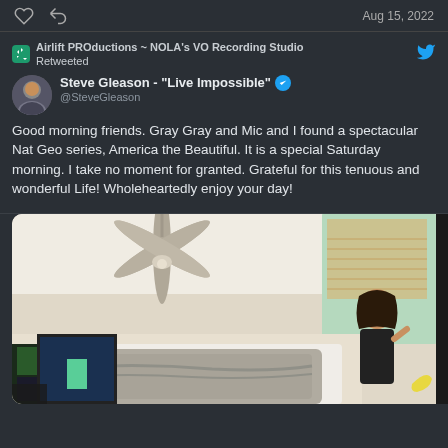Aug 15, 2022
Airlift PROductions ~ NOLA's VO Recording Studio Retweeted
Steve Gleason - "Live Impossible" @SteveGleason
Good morning friends. Gray Gray and Mic and I found a spectacular Nat Geo series, America the Beautiful. It is a special Saturday morning. I take no moment for granted. Grateful for this tenuous and wonderful Life! Wholeheartedly enjoy your day!
[Figure (photo): Indoor bedroom scene viewed from below, ceiling fan visible, woman standing near a person lying in bed with gray blanket, artwork on wall, window with natural light]